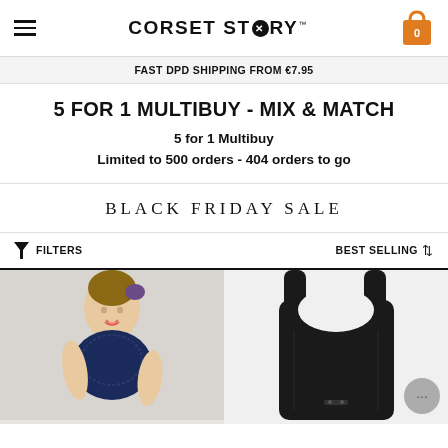CORSET STORY
FAST DPD SHIPPING FROM €7.95
5 FOR 1 MULTIBUY - MIX & MATCH
5 for 1 Multibuy
Limited to 500 orders - 404 orders to go
BLACK FRIDAY SALE
FILTERS
BEST SELLING
[Figure (photo): Woman wearing navy blue lace corset/bra top, smiling, with hair up]
[Figure (photo): Black shapewear/bodysuit garment close-up on plain background]